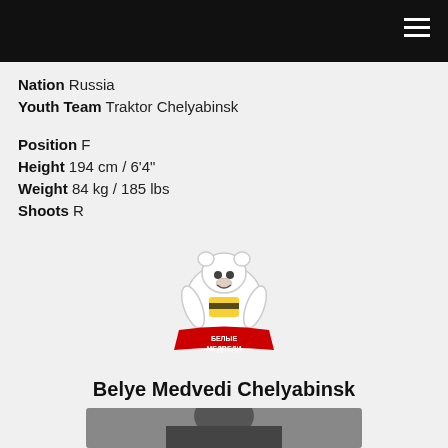Nation Russia
Youth Team Traktor Chelyabinsk
Position F
Height 194 cm / 6'4"
Weight 84 kg / 185 lbs
Shoots R
[Figure (logo): Belye Medvedi Chelyabinsk team logo — polar bear mascot with Russian text БЕЛЫЕ МЕДВЕДИ]
Belye Medvedi Chelyabinsk
[Figure (photo): Player photo, partially visible at bottom of page]